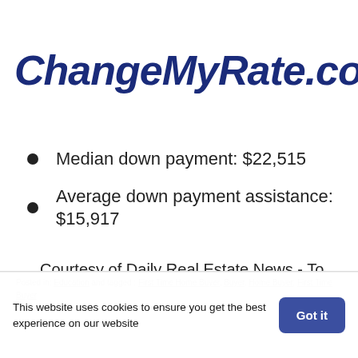ChangeMyRate.com®
Median down payment: $22,515
Average down payment assistance: $15,917
Courtesy of Daily Real Estate News - To view the original article click here
Posted in: Education and tagged : First Time Home Buyer, Buyer, Home Buyer, First Time Buyer
Posted by Jackie A. Graves on October 4th, 2016 at ...
This website uses cookies to ensure you get the best experience on our website